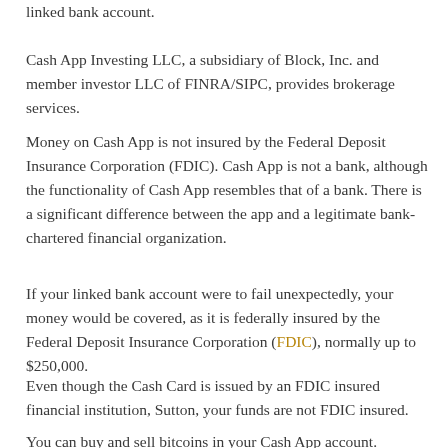linked bank account.
Cash App Investing LLC, a subsidiary of Block, Inc. and member investor LLC of FINRA/SIPC, provides brokerage services.
Money on Cash App is not insured by the Federal Deposit Insurance Corporation (FDIC). Cash App is not a bank, although the functionality of Cash App resembles that of a bank. There is a significant difference between the app and a legitimate bank-chartered financial organization.
If your linked bank account were to fail unexpectedly, your money would be covered, as it is federally insured by the Federal Deposit Insurance Corporation (FDIC), normally up to $250,000.
Even though the Cash Card is issued by an FDIC insured financial institution, Sutton, your funds are not FDIC insured.
You can buy and sell bitcoins in your Cash App account. However,